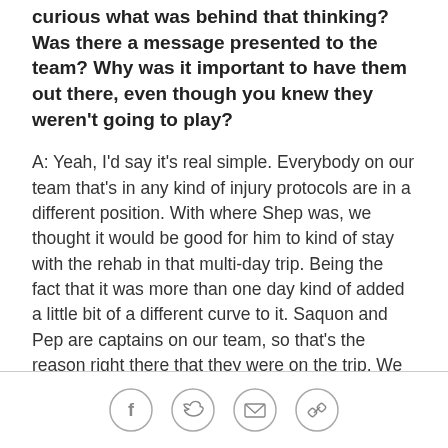curious what was behind that thinking? Was there a message presented to the team? Why was it important to have them out there, even though you knew they weren't going to play?
A: Yeah, I'd say it's real simple. Everybody on our team that's in any kind of injury protocols are in a different position. With where Shep was, we thought it would be good for him to kind of stay with the rehab in that multi-day trip. Being the fact that it was more than one day kind of added a little bit of a different curve to it. Saquon and Pep are captains on our team, so that's the reason right there that they were on the trip. We count on those guys for leadership and being involved, and that was it right there.
Q: Just the other thing I wanted to ask you about,
[Figure (illustration): Social media sharing icons: Facebook, Twitter, Email, and Link/Copy icons in circular outlines]